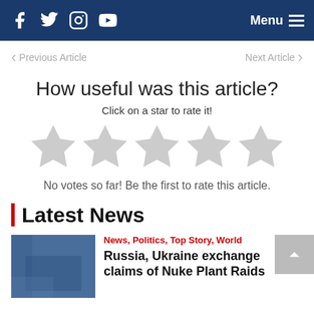Navigation bar with Facebook, Twitter, Instagram, YouTube icons and Menu button
Previous Article
Next Article
How useful was this article?
Click on a star to rate it!
[Figure (other): Five light gray star rating icons]
No votes so far! Be the first to rate this article.
Latest News
News, Politics, Top Story, World
Russia, Ukraine exchange claims of Nuke Plant Raids